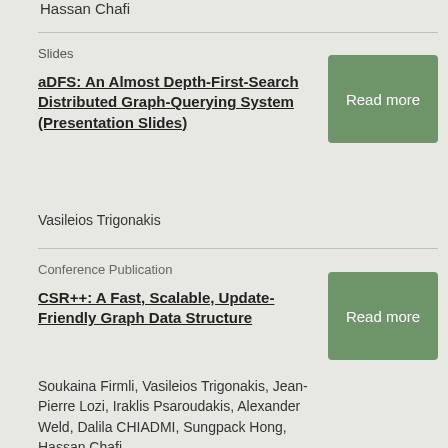Hassan Chafi
Slides
aDFS: An Almost Depth-First-Search Distributed Graph-Querying System (Presentation Slides)
Vasileios Trigonakis
Conference Publication
CSR++: A Fast, Scalable, Update-Friendly Graph Data Structure
Soukaina Firmli, Vasileios Trigonakis, Jean-Pierre Lozi, Iraklis Psaroudakis, Alexander Weld, Dalila CHIADMI, Sungpack Hong, Hassan Chafi